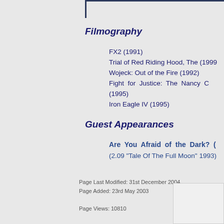Filmography
FX2 (1991)
Trial of Red Riding Hood, The (1999)
Wojeck: Out of the Fire (1992)
Fight for Justice: The Nancy C... (1995)
Iron Eagle IV (1995)
Guest Appearances
Are You Afraid of the Dark? (2.09 "Tale Of The Full Moon" 1993)
Page Last Modified: 31st December 2004
Page Added: 23rd May 2003

Page Views: 10810